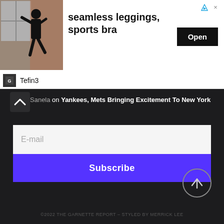[Figure (infographic): Advertisement banner with a person in athletic wear (seamless leggings, sports bra), an Open button, and Tefin3 brand name. Triangle and X icons in top right.]
Sanela on Yankees, Mets Bringing Excitement To New York
E-mail
Subscribe
[Figure (illustration): Back to top circular button with upward arrow icon]
©2022 THE GARNETTE REPORT – STYLED BY MERRICK LEE